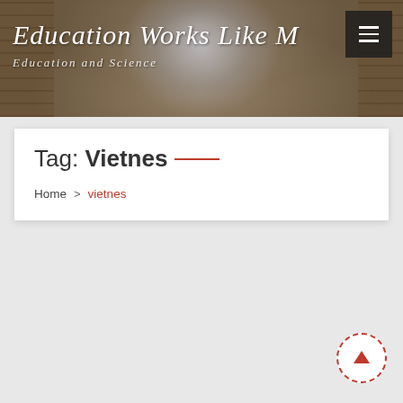[Figure (screenshot): Website header banner with library background image showing bookshelves and a large arched window. Overlaid with italic white script text 'Education Works Like M...' and subtitle 'Education and Science'. A dark hamburger menu button is in the top-right corner.]
Tag: Vietnes —
Home > vietnes